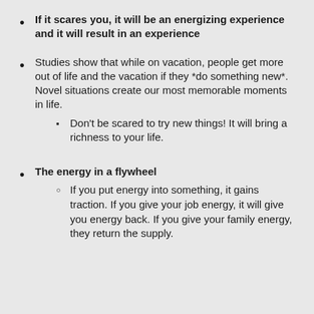If it scares you, it will be an energizing experience and it will result in an experience
Studies show that while on vacation, people get more out of life and the vacation if they *do something new*. Novel situations create our most memorable moments in life.
Don't be scared to try new things! It will bring a richness to your life.
The energy in a flywheel
If you put energy into something, it gains traction. If you give your job energy, it will give you energy back. If you give your family energy, they return the supply.